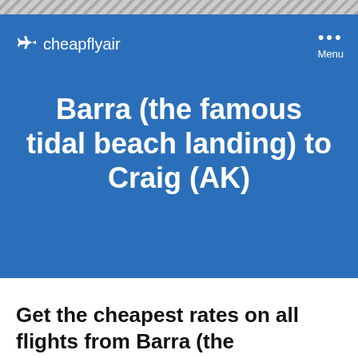////////////////////
[Figure (logo): cheapflyair airplane logo and wordmark in white on blue background with Menu button]
Barra (the famous tidal beach landing) to Craig (AK)
Get the cheapest rates on all flights from Barra (the